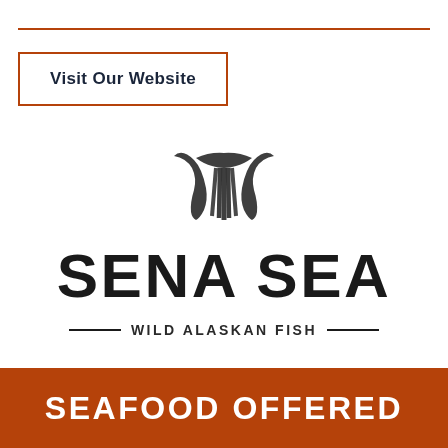Visit Our Website
[Figure (logo): Sena Sea brand logo icon — stylized fish tail / fin silhouette in dark ink stamp style]
SENA SEA
— WILD ALASKAN FISH —
SEAFOOD OFFERED